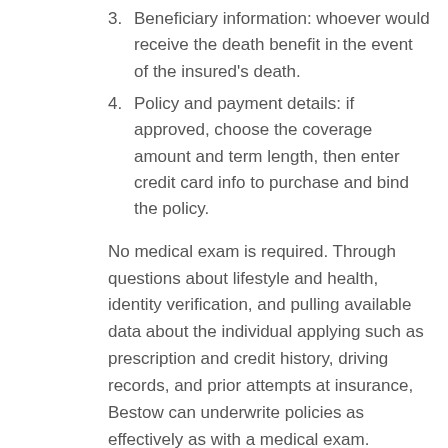3. Beneficiary information: whoever would receive the death benefit in the event of the insured's death.
4. Policy and payment details: if approved, choose the coverage amount and term length, then enter credit card info to purchase and bind the policy.
No medical exam is required. Through questions about lifestyle and health, identity verification, and pulling available data about the individual applying such as prescription and credit history, driving records, and prior attempts at insurance, Bestow can underwrite policies as effectively as with a medical exam.
^Back to the top